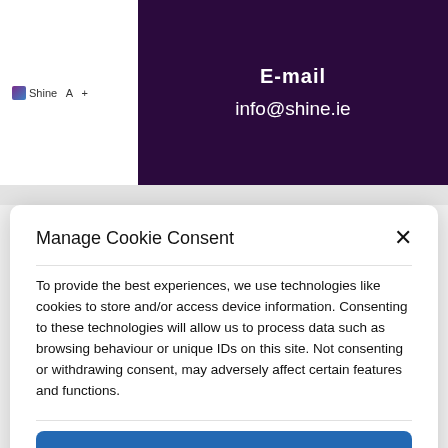E-mail
info@shine.ie
Manage Cookie Consent
To provide the best experiences, we use technologies like cookies to store and/or access device information. Consenting to these technologies will allow us to process data such as browsing behaviour or unique IDs on this site. Not consenting or withdrawing consent, may adversely affect certain features and functions.
Accept
Deny
View preferences
Cookie Policy   Shine Privacy Statement